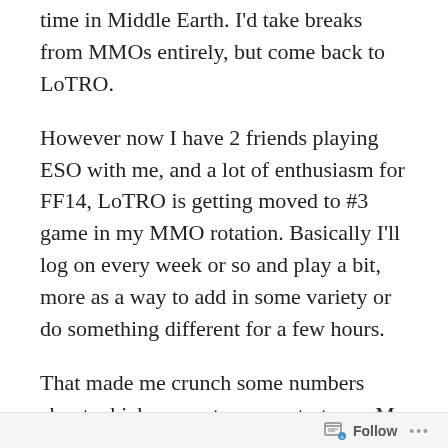time in Middle Earth. I'd take breaks from MMOs entirely, but come back to LoTRO.
However now I have 2 friends playing ESO with me, and a lot of enthusiasm for FF14, LoTRO is getting moved to #3 game in my MMO rotation. Basically I'll log on every week or so and play a bit, more as a way to add in some variety or do something different for a few hours.
That made me crunch some numbers about which server to concentrate on. My Beorning on Shadowfax is level 21, at roughly 96K total XP according to the character XP table section,
Follow ···